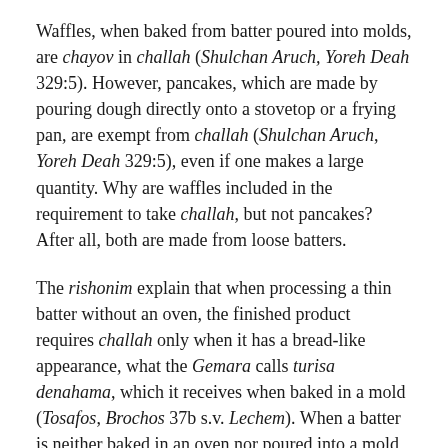Waffles, when baked from batter poured into molds, are chayov in challah (Shulchan Aruch, Yoreh Deah 329:5). However, pancakes, which are made by pouring dough directly onto a stovetop or a frying pan, are exempt from challah (Shulchan Aruch, Yoreh Deah 329:5), even if one makes a large quantity. Why are waffles included in the requirement to take challah, but not pancakes? After all, both are made from loose batters.
The rishonim explain that when processing a thin batter without an oven, the finished product requires challah only when it has a bread-like appearance, what the Gemara calls turisa denahama, which it receives when baked in a mold (Tosafos, Brochos 37b s.v. Lechem). When a batter is neither baked in an oven nor poured into a mold prior to being baked, it does not form a turisa denahama.